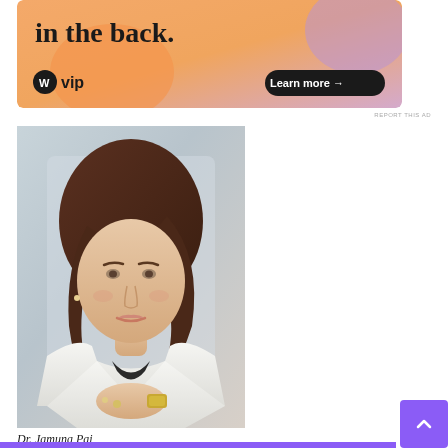[Figure (photo): WordPress VIP advertisement banner with orange/peach gradient background, text 'in the back.', WordPress VIP logo, and 'Learn more' button]
REPORT THIS AD
[Figure (photo): Professional headshot photo of Dr. Jamuna Pai, a woman with brown hair wearing a white blazer, posed with hands folded, wearing a gold watch and rings]
Dr. Jamuna Pai